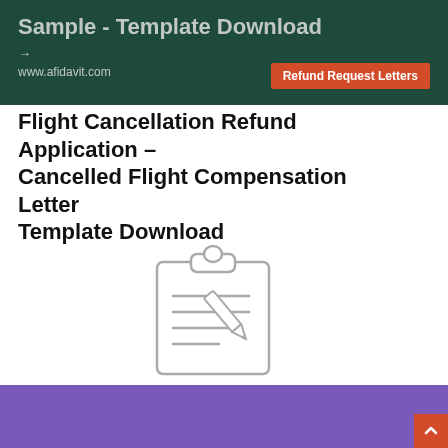[Figure (screenshot): Dark green header banner with text 'Sample - Template Download', arrow, www.afidavit.com URL, and orange 'Refund Request Letters' badge on the right]
Flight Cancellation Refund Application – Cancelled Flight Compensation Letter Template Download
[Figure (illustration): Clipboard with lines of text and a pencil icon, outlined in gray]
[Figure (infographic): Purple banner with white bold text 'ORDER LETTER', www.afidavit.com URL, and orange 'Order Letter' badge on the right]